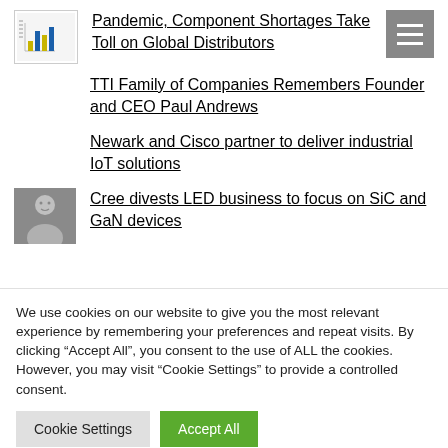[Figure (logo): Small logo image with bar chart icon next to headline link]
Pandemic, Component Shortages Take Toll on Global Distributors
TTI Family of Companies Remembers Founder and CEO Paul Andrews
Newark and Cisco partner to deliver industrial IoT solutions
[Figure (photo): Thumbnail photo of a man (portrait)]
Cree divests LED business to focus on SiC and GaN devices
We use cookies on our website to give you the most relevant experience by remembering your preferences and repeat visits. By clicking “Accept All”, you consent to the use of ALL the cookies. However, you may visit "Cookie Settings" to provide a controlled consent.
Cookie Settings | Accept All